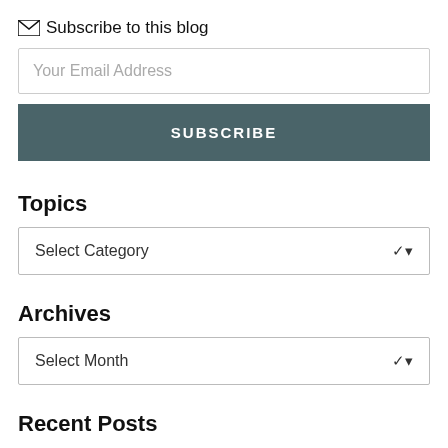✉ Subscribe to this blog
Your Email Address
SUBSCRIBE
Topics
Select Category
Archives
Select Month
Recent Posts
70% of Medical Debt is Being Wiped Off Credit Reports. Is